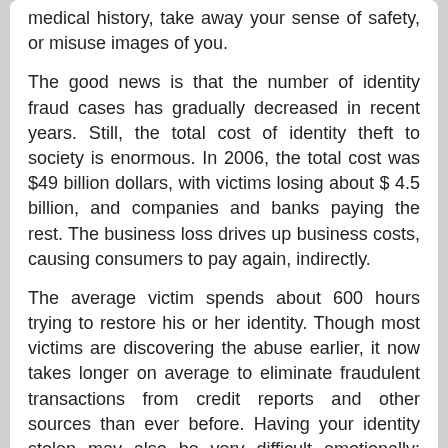medical history, take away your sense of safety, or misuse images of you.
The good news is that the number of identity fraud cases has gradually decreased in recent years. Still, the total cost of identity theft to society is enormous. In 2006, the total cost was $49 billion dollars, with victims losing about $ 4.5 billion, and companies and banks paying the rest. The business loss drives up business costs, causing consumers to pay again, indirectly.
The average victim spends about 600 hours trying to restore his or her identity. Though most victims are discovering the abuse earlier, it now takes longer on average to eliminate fraudulent transactions from credit reports and other sources than ever before. Having your identity stolen may also be very difficult emotionally: feelings of violation, powerlessness, and frustration may feel overwhelming. You can find help in coping with ID theft from the Identity Theft Resource Center.
Risk of identity theft by age
Eighteen to twenty-nine year-olds are particularly at risk